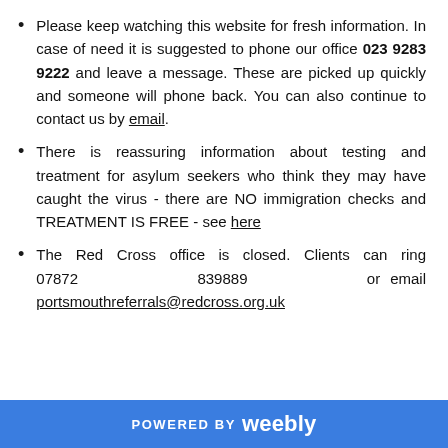Please keep watching this website for fresh information. In case of need it is suggested to phone our office 023 9283 9222 and leave a message. These are picked up quickly and someone will phone back. You can also continue to contact us by email.
There is reassuring information about testing and treatment for asylum seekers who think they may have caught the virus - there are NO immigration checks and TREATMENT IS FREE - see here
The Red Cross office is closed. Clients can ring 07872 839889 or email portsmouthreferrals@redcross.org.uk
POWERED BY weebly